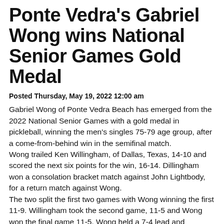Ponte Vedra's Gabriel Wong wins National Senior Games Gold Medal
Posted Thursday, May 19, 2022 12:00 am
Gabriel Wong of Ponte Vedra Beach has emerged from the 2022 National Senior Games with a gold medal in pickleball, winning the men's singles 75-79 age group, after a come-from-behind win in the semifinal match. Wong trailed Ken Willingham, of Dallas, Texas, 14-10 and scored the next six points for the win, 16-14. Dillingham won a consolation bracket match against John Lightbody, for a return match against Wong. The two split the first two games with Wong winning the first 11-9. Willingham took the second game, 11-5 and Wong won the final game 11-5. Wong held a 7-4 lead and outscored